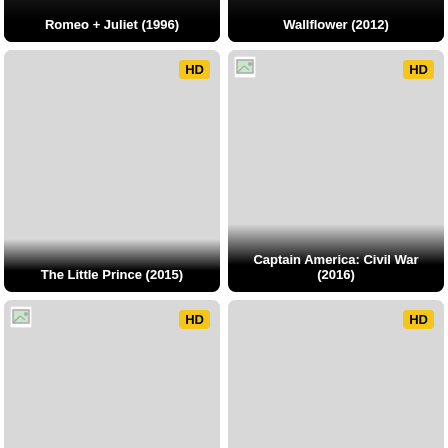[Figure (screenshot): Movie card: Romeo + Juliet (1996), dark background with title label at bottom]
[Figure (screenshot): Movie card: Wallflower (2012), dark background with title label at bottom]
[Figure (screenshot): Movie card: The Little Prince (2015), gray placeholder image, HD badge, title label at bottom]
[Figure (screenshot): Movie card: Captain America: Civil War (2016), broken image icon, HD badge, title label at bottom]
[Figure (screenshot): Movie card: unknown, broken image icon, HD badge, gray placeholder]
[Figure (screenshot): Movie card: unknown, HD badge, gray placeholder]